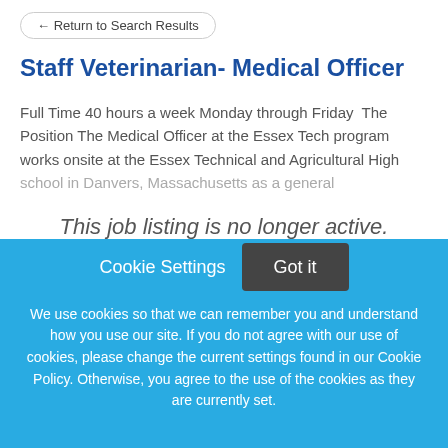← Return to Search Results
Staff Veterinarian- Medical Officer
Full Time 40 hours a week Monday through Friday  The Position The Medical Officer at the Essex Tech program works onsite at the Essex Technical and Agricultural High school in Danvers, Massachusetts as a general
This job listing is no longer active.
Cookie Settings
Got it
We use cookies so that we can remember you and understand how you use our site. If you do not agree with our use of cookies, please change the current settings found in our Cookie Policy. Otherwise, you agree to the use of the cookies as they are currently set.